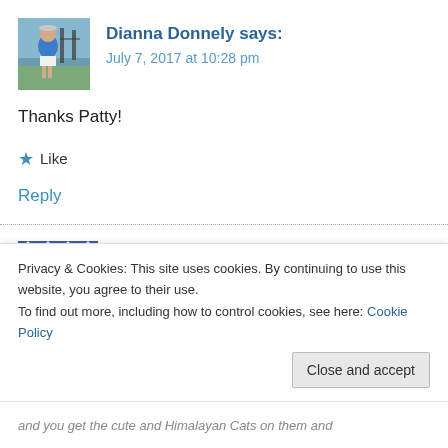[Figure (photo): Avatar photo of Dianna Donnely - person in blue shirt outdoors]
Dianna Donnely says:
July 7, 2017 at 10:28 pm
Thanks Patty!
★ Like
Reply
[Figure (illustration): Avatar image for bethanyk - blue and white geometric/floral pattern]
bethanyk says:
Privacy & Cookies: This site uses cookies. By continuing to use this website, you agree to their use.
To find out more, including how to control cookies, see here: Cookie Policy
Close and accept
and you get the cute and Himalayan Cats on them and